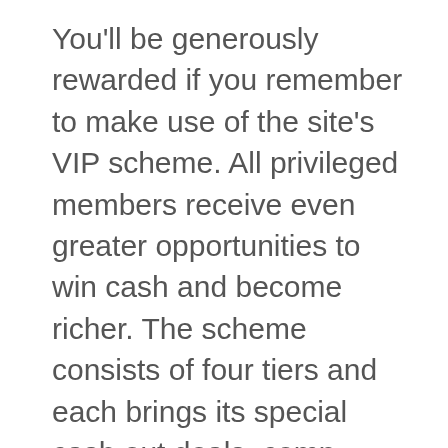You'll be generously rewarded if you remember to make use of the site's VIP scheme. All privileged members receive even greater opportunities to win cash and become richer. The scheme consists of four tiers and each brings its special cash out deals, comp points, a personal host available for you around the clock, insurance on losses, and so much more! Climb the levels and reach the very top to become the Bovegas Casino legend! Discover what you have never seen at any other online casinos and enjoy being a part of the elite club.
Games and Software
You will love the neat and sleek design of the website. It ensures an exceptionally...